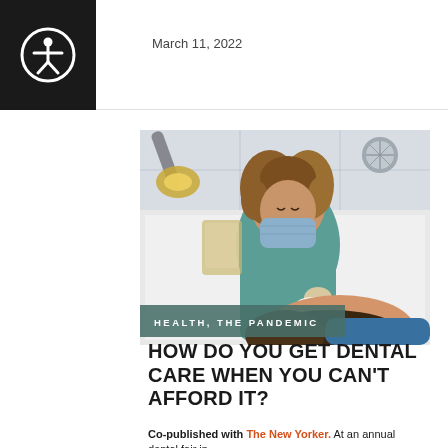March 11, 2022
[Figure (photo): A female dentist wearing a teal surgical mask and scrubs leaning over a patient in a dental chair, with a dental light overhead and clinical setting in background.]
HEALTH, THE PANDEMIC
HOW DO YOU GET DENTAL CARE WHEN YOU CAN'T AFFORD IT?
Co-published with The New Yorker. At an annual dental fair in